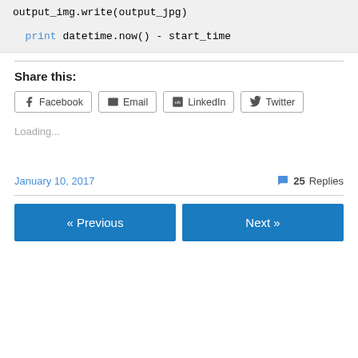output_img.write(output_jpg)

print datetime.now() - start_time
Share this:
Facebook  Email  LinkedIn  Twitter
Loading...
January 10, 2017
25 Replies
« Previous
Next »